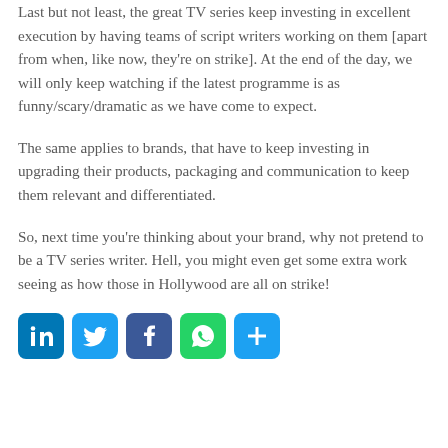Last but not least, the great TV series keep investing in excellent execution by having teams of script writers working on them [apart from when, like now, they're on strike]. At the end of the day, we will only keep watching if the latest programme is as funny/scary/dramatic as we have come to expect.
The same applies to brands, that have to keep investing in upgrading their products, packaging and communication to keep them relevant and differentiated.
So, next time you're thinking about your brand, why not pretend to be a TV series writer. Hell, you might even get some extra work seeing as how those in Hollywood are all on strike!
[Figure (infographic): Row of five social media share buttons: LinkedIn (blue), Twitter (light blue), Facebook (dark blue), WhatsApp (green), Share/AddThis (light blue)]